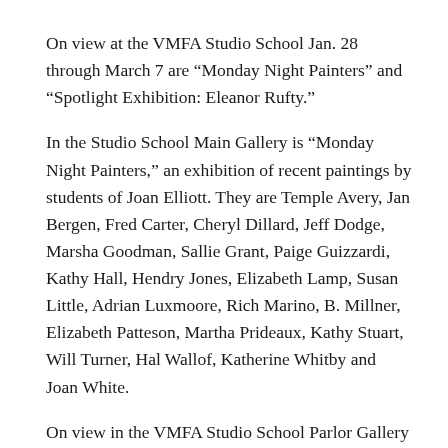On view at the VMFA Studio School Jan. 28 through March 7 are “Monday Night Painters” and “Spotlight Exhibition: Eleanor Rufty.”
In the Studio School Main Gallery is “Monday Night Painters,” an exhibition of recent paintings by students of Joan Elliott. They are Temple Avery, Jan Bergen, Fred Carter, Cheryl Dillard, Jeff Dodge, Marsha Goodman, Sallie Grant, Paige Guizzardi, Kathy Hall, Hendry Jones, Elizabeth Lamp, Susan Little, Adrian Luxmoore, Rich Marino, B. Millner, Elizabeth Patteson, Martha Prideaux, Kathy Stuart, Will Turner, Hal Wallof, Katherine Whitby and Joan White.
On view in the VMFA Studio School Parlor Gallery is “Spotlight Exhibition: Eleanor Rufty,” an exhibition of recent works on paper by long-time Studio School instructor and artist Eleanor Rufty.
A public reception for both exhibitions will be from 5 to 7 p.m. Friday, Feb. 8. The VMFA Studio School is as 2911 Grove Ave. in Richmond. The Studio School galleries are open Monday through